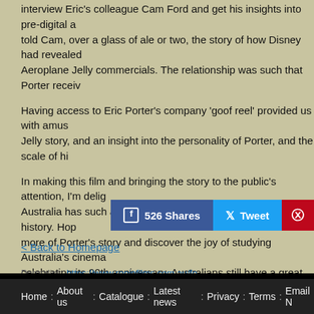interview Eric's colleague Cam Ford and get his insights into pre-digital an told Cam, over a glass of ale or two, the story of how Disney had revealed Aeroplane Jelly commercials. The relationship was such that Porter receiv
Having access to Eric Porter's company 'goof reel' provided us with amus Jelly story, and an insight into the personality of Porter, and the scale of hi
In making this film and bringing the story to the public's attention, I'm delig Australia has such an intriguing character as Eric Porter in its history. Hop more of Porter's story and discover the joy of studying Australia's cinema celebrating its 90th anniversary, Australians still have a great connection t this early advertising campaign.
- Michael Kraaz, May 2020
For an interesting interview with Michael Kraaz talking about the film, click v=fKem3ge1mFE
< Back to Homepage
Permalink: https://www.roninfilms.com.au/fe
Home : About us : Catalogue : Latest news : Privacy : Terms : Email N